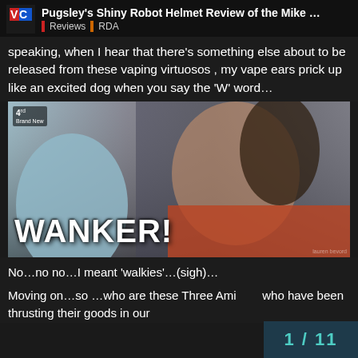Pugsley's Shiny Robot Helmet Review of the Mike … | Reviews | RDA
speaking, when I hear that there's something else about to be released from these vaping virtuosos , my vape ears prick up like an excited dog when you say the 'W' word…
[Figure (photo): A woman in an orange jacket looking at the camera with a serious expression, with bold white text overlay reading 'WANKER!' and a Channel 4 Brand New logo in the top left corner.]
No…no no…I meant 'walkies'…(sigh)…
Moving on…so …who are these Three Ami who have been thrusting their goods in our
1 / 11